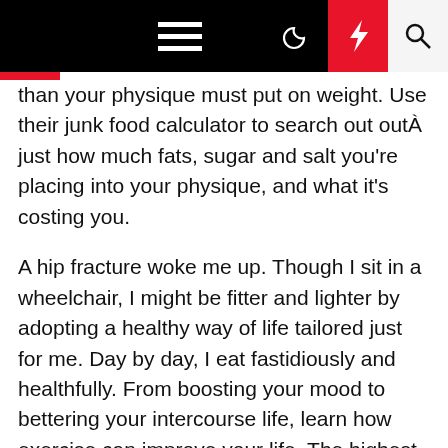Navigation bar with home, menu, dark mode, lightning, search icons
than your physique must put on weight. Use their junk food calculator to search out outÂ just how much fats, sugar and salt you're placing into your physique, and what it's costing you.
A hip fracture woke me up. Though I sit in a wheelchair, I might be fitter and lighter by adopting a healthy way of life tailored just for me. Day by day, I eat fastidiously and healthfully. From boosting your mood to bettering your intercourse life, learn how exercise can improve your life. The highest layer refers to healthy fat because we'd like small quantities day-after-day to assist coronary heart health and brain perform.
Healthy KC is a regional well being and wellness program organized by the KC Chamber and Blue Cross and Blue Shield of Kansas City with broad